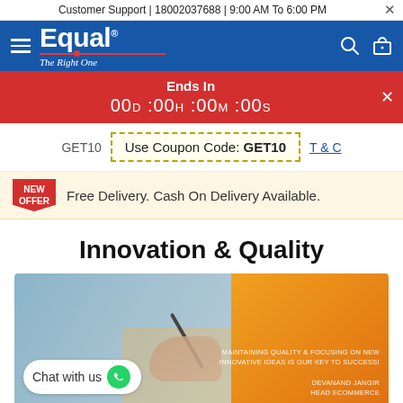Customer Support | 18002037688 | 9:00 AM To 6:00 PM
[Figure (logo): Equal brand logo with tagline 'The Right One' on blue navigation bar]
Ends In
00D :00H :00M :00S
GET10   Use Coupon Code: GET10   T & C
NEW OFFER  Free Delivery. Cash On Delivery Available.
Innovation & Quality
[Figure (photo): Hero image showing a person writing at a desk with laptop, orange gradient on right side with text overlay and Chat with us WhatsApp button]